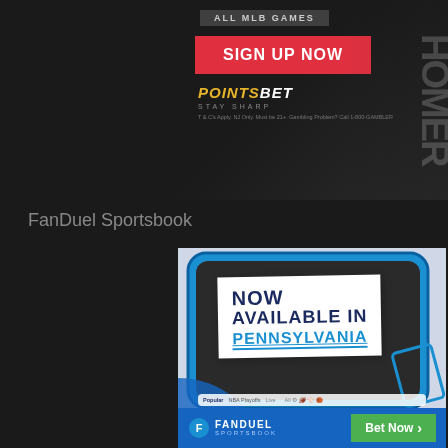[Figure (photo): PointsBet sportsbook advertisement showing a baseball player jersey with 'HOMER' text, a red SIGN UP NOW button, PointsBet logo with 'Stay Sharp' tagline, and T&C disclaimer text. Background is dark/black.]
FanDuel Sportsbook
[Figure (photo): FanDuel Sportsbook advertisement showing a mobile app interface with text 'NOW AVAILABLE IN PENNSYLVANIA' on a white card overlay. App UI showing Popular, NBA Playoffs, Live tabs. FanDuel Sportsbook logo and a green 'Bet Now' button at the bottom. Blue background with phone mockup.]